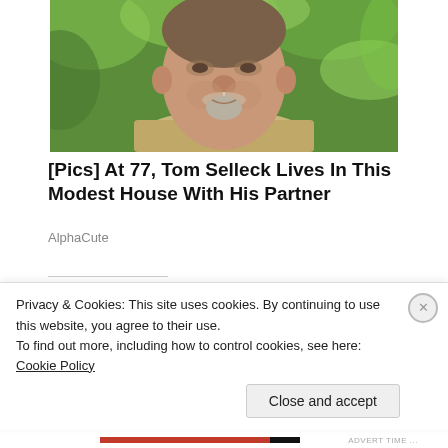[Figure (photo): Close-up photo of a middle-aged man with a gray goatee beard, wearing a beige/khaki jacket and dark shirt, with green foliage in the background.]
[Pics] At 77, Tom Selleck Lives In This Modest House With His Partner
AlphaCute
Share this:
Privacy & Cookies: This site uses cookies. By continuing to use this website, you agree to their use.
To find out more, including how to control cookies, see here: Cookie Policy
Close and accept